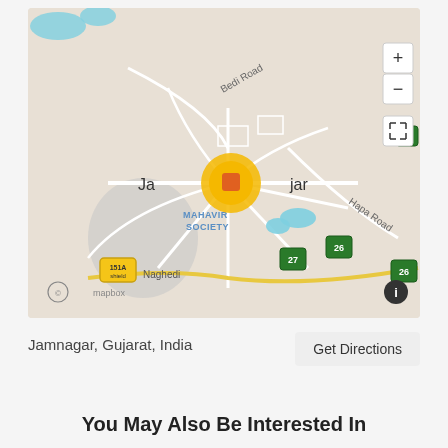[Figure (map): Mapbox map showing Jamnagar, Gujarat, India with a yellow/orange location marker cluster in the center. Map features roads including Bedi Road and Hapa Road, area labels including MAHAVIR SOCIETY and Naghedi, route shields (151A, 26, 27, 6), blue water bodies, and map controls (zoom +/-, fullscreen, info button). Mapbox copyright shown at bottom left.]
Jamnagar, Gujarat, India
Get Directions
You May Also Be Interested In